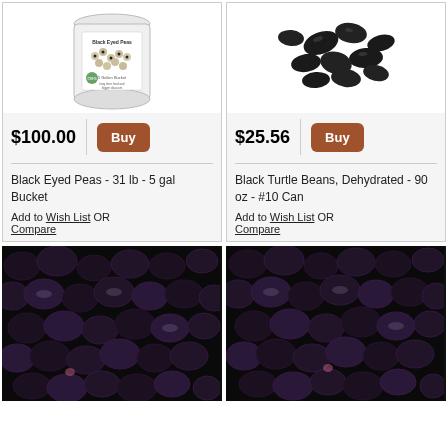[Figure (photo): White 5 gallon bucket labeled Black Eyed Peas with product image on label]
$100.00
Buy
Black Eyed Peas - 31 lb - 5 gal Bucket
Add to Wish List OR Compare
[Figure (photo): Black turtle beans scattered on white background]
$25.56
Buy
Black Turtle Beans, Dehydrated - 90 oz - #10 Can
Add to Wish List OR Compare
[Figure (photo): Close-up of dark dehydrated berries/beans, left product]
[Figure (photo): Close-up of dark dehydrated berries/beans, right product]